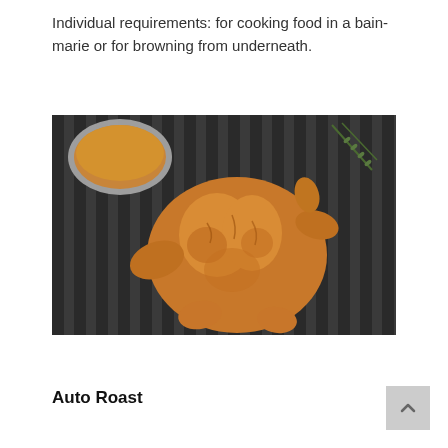Individual requirements: for cooking food in a bain-marie or for browning from underneath.
[Figure (photo): A golden-brown roasted whole chicken on a dark metal grill rack, with a small bowl of sauce in the upper left corner and sprigs of rosemary in the upper right.]
Auto Roast